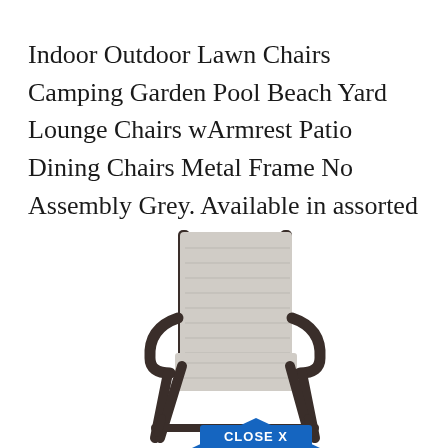Indoor Outdoor Lawn Chairs Camping Garden Pool Beach Yard Lounge Chairs wArmrest Patio Dining Chairs Metal Frame No Assembly Grey. Available in assorted colors.
[Figure (photo): A grey sling patio dining chair with dark brown/black metal frame and armrests, shown on white background. A blue 'CLOSE X' badge is visible at the bottom center of the image.]